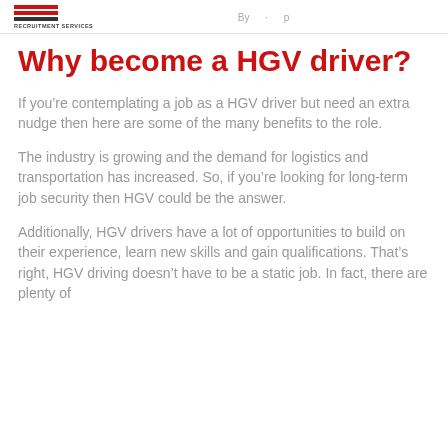RECRUITMENT SERVICES
Why become a HGV driver?
If you’re contemplating a job as a HGV driver but need an extra nudge then here are some of the many benefits to the role.
The industry is growing and the demand for logistics and transportation has increased. So, if you’re looking for long-term job security then HGV could be the answer.
Additionally, HGV drivers have a lot of opportunities to build on their experience, learn new skills and gain qualifications. That’s right, HGV driving doesn’t have to be a static job. In fact, there are plenty of